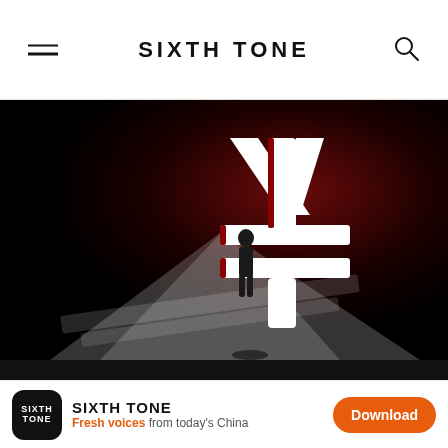SIXTH TONE
[Figure (photo): A small figurine of a person standing in front of a large illuminated yuan/yen currency symbol against a dark red and black background, with dramatic lighting casting shadows.]
Rising Tones
China Auto Nati...
SIXTH TONE - Fresh voices from today's China - Download